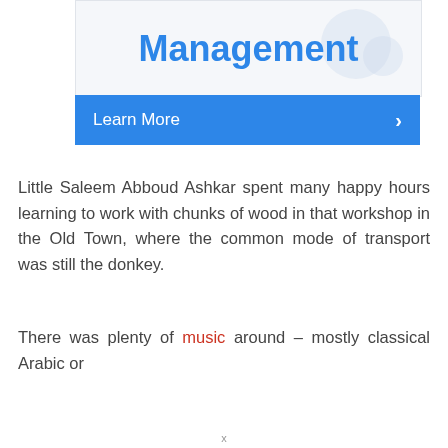[Figure (screenshot): Banner with blue 'Management' title text and decorative circles on light background, with a blue 'Learn More >' button bar below]
Little Saleem Abboud Ashkar spent many happy hours learning to work with chunks of wood in that workshop in the Old Town, where the common mode of transport was still the donkey.
There was plenty of music around – mostly classical Arabic or